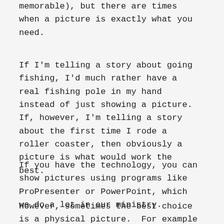memorable), but there are times when a picture is exactly what you need.
If I'm telling a story about going fishing, I'd much rather have a real fishing pole in my hand instead of just showing a picture. If, however, I'm telling a story about the first time I rode a roller coaster, then obviously a picture is what would work the best.
If you have the technology, you can show pictures using programs like ProPresenter or PowerPoint, which we do a lot in our ministry.
However, sometimes the best choice is a physical picture.  For example to introduce a